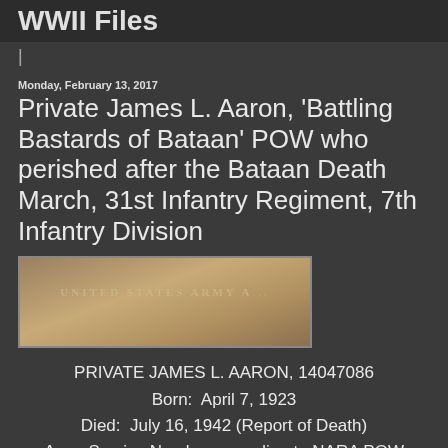WWII Files
|
Monday, February 13, 2017
Private James L. Aaron, 'Battling Bastards of Bataan' POW who perished after the Bataan Death March, 31st Infantry Regiment, 7th Infantry Division
[Figure (photo): Partial image of a United States Army document header showing 'UNITED STATES ARMY' text]
PRIVATE JAMES L. AARON, 14047086
Born:  April 7, 1923
Died:  July 16, 1942 (Report of Death)
Army Service Number according to NARA POW